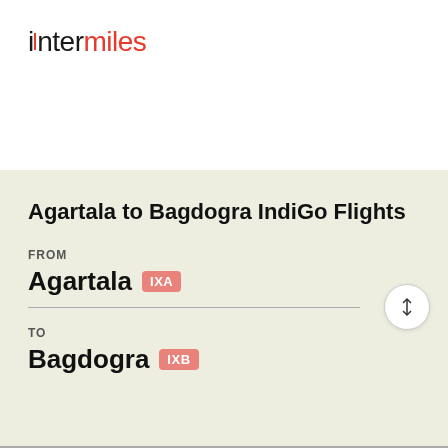intermiles
Agartala to Bagdogra IndiGo Flights
FROM
Agartala IXA
TO
Bagdogra IXB